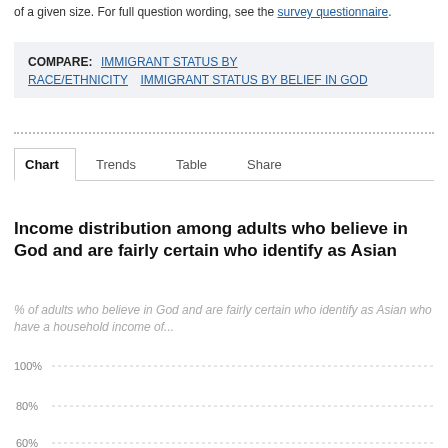of a given size. For full question wording, see the survey questionnaire.
COMPARE: IMMIGRANT STATUS BY RACE/ETHNICITY  IMMIGRANT STATUS BY BELIEF IN GOD
Chart  Trends  Table  Share
Income distribution among adults who believe in God and are fairly certain who identify as Asian
% of adults who believe in God and are fairly certain who identify as Asian who have a household income of...
[Figure (continuous-plot): Partial bar chart area visible with y-axis gridlines showing 100%, 80%, 60% labels. Chart data not fully visible.]